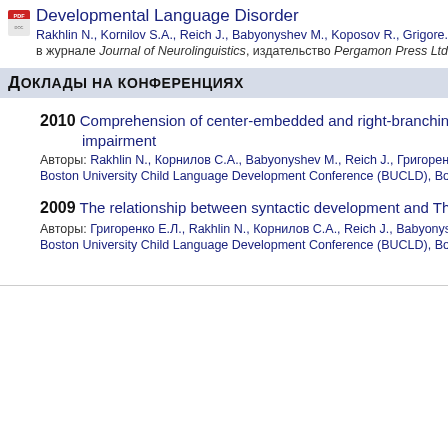Developmental Language Disorder
Rakhlin N., Kornilov S.A., Reich J., Babyonyshev M., Koposov R., Grigore...
в журнале Journal of Neurolinguistics, издательство Pergamon Press Ltd...
Доклады на конференциях
2010 Comprehension of center-embedded and right-branching... impairment
Авторы: Rakhlin N., Корнилов С.А., Babyonyshev M., Reich J., Григоренко...
Boston University Child Language Development Conference (BUCLD), Bo...
2009 The relationship between syntactic development and The...
Авторы: Григоренко Е.Л., Rakhlin N., Корнилов С.А., Reich J., Babyonys...
Boston University Child Language Development Conference (BUCLD), Bo...